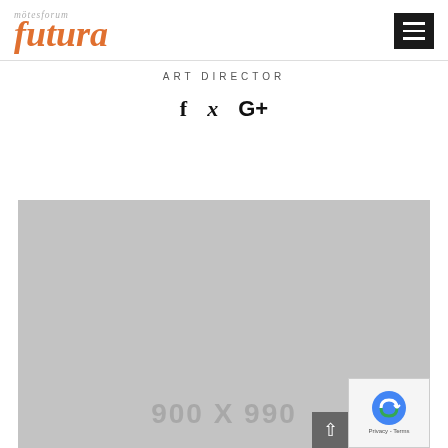[Figure (logo): Mötesforum Futura logo in orange italic serif font with small grey italic text above]
ART DIRECTOR
f  ✓  G+
[Figure (other): Grey placeholder image box with text '900 X 990' and a reCAPTCHA badge in the bottom right corner]